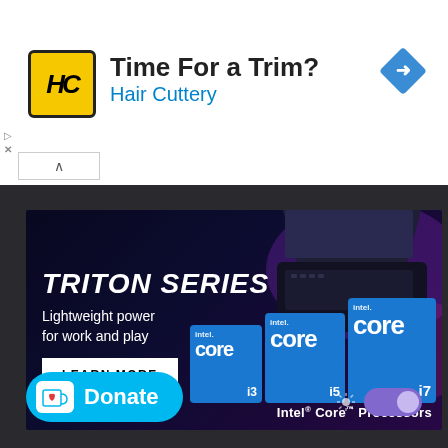[Figure (screenshot): Hair Cuttery advertisement banner with logo, title 'Time For a Trim?', subtitle 'Hair Cuttery', and navigation arrow icon]
[Figure (screenshot): Acer Triton Series laptop advertisement with dark blue background, laptop image, Intel Core processor badges (i3, i5, i7), 'LEARN MORE' button, and 'Intel Core Processors' footer text]
[Figure (screenshot): Ko-fi Donate button (cyan/blue) with heart icon and 'Donate' text, plus a purple toggle switch]